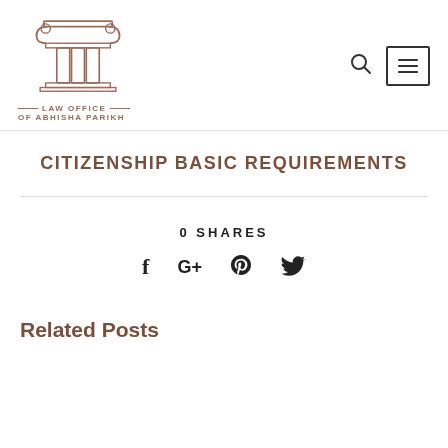[Figure (logo): Law Office of Abhisha Parikh logo with classical column pillar illustration and text]
CITIZENSHIP BASIC REQUIREMENTS
0 SHARES
[Figure (infographic): Social share icons: Facebook (f), Google+ (G+), Pinterest (P), Twitter bird icon]
Related Posts